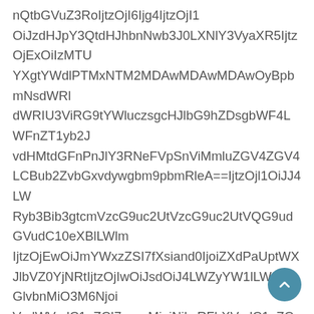nQtbGVuZ3RoIjtzOjI6Ijg4IjtzOjI1OiJzdHJpY3QtdHJhbnNwb3J0LXNlY3VyaXR5IjtzOjExOiIzMTUzNjAwMDAwIjt ZXgtYWdlPTMxNTM2MDAwMDAwMDAwOyBpbmNsdWRlU3ViRG9tYWlucyI7aW50ZXJuYWxDb2RlOiBmYWxzZTt9dHMiOiJhMlZ1Q2pFMk5qY3VOamcxSUNneFNFQlFTRkFnWlhaWVRKWkdVZ1JWOU9UMVJKUTBVNW9JRlZ1WkdWbWFXNWxaQ0J3Y205d1ozelhKMGVUb2djM1JrUTJ4aGMzTTZPaVJ5WldaeVdaWll6Wk5vWDNScnZhMlZ1Q25z